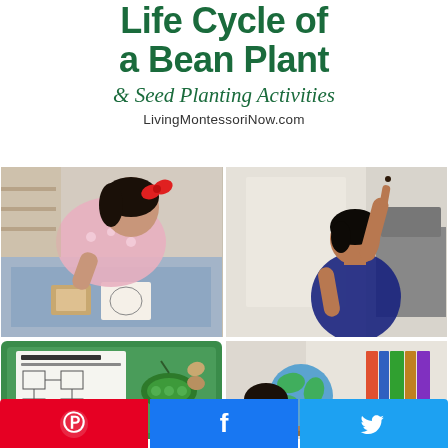Life Cycle of a Bean Plant & Seed Planting Activities
LivingMontessoriNow.com
[Figure (photo): Young girl with red hair bow leaning over Montessori life cycle materials on a blue mat]
[Figure (photo): Child pointing upward near a window]
[Figure (photo): Green tray with Bean Life Cycle worksheet and plant materials]
[Figure (photo): Child looking at colorful globe with books in background]